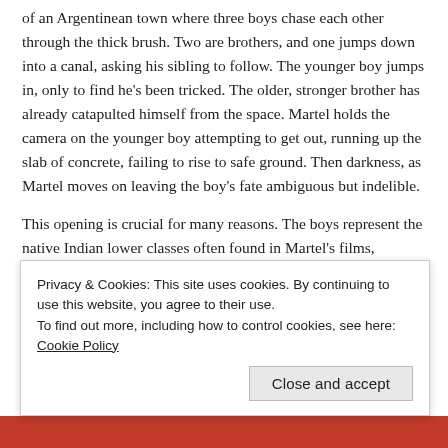of an Argentinean town where three boys chase each other through the thick brush. Two are brothers, and one jumps down into a canal, asking his sibling to follow. The younger boy jumps in, only to find he's been tricked. The older, stronger brother has already catapulted himself from the space. Martel holds the camera on the younger boy attempting to get out, running up the slab of concrete, failing to rise to safe ground. Then darkness, as Martel moves on leaving the boy's fate ambiguous but indelible.
This opening is crucial for many reasons. The boys represent the native Indian lower classes often found in Martel's films, emblems of repression that are pushed to the fringes by people of wealth and status. Also the concrete canal evokes a clear visualization of the unending quagmire between classes in Argentina. The film then cuts to Veronica (Maria Onetta), Martel's focus on the
Privacy & Cookies: This site uses cookies. By continuing to use this website, you agree to their use.
To find out more, including how to control cookies, see here: Cookie Policy
Close and accept